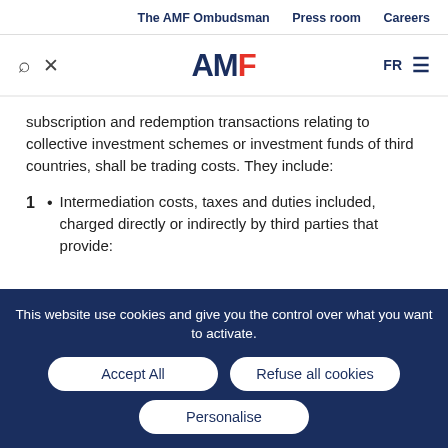The AMF Ombudsman  Press room  Careers
[Figure (logo): AMF logo with search and close icons, FR language toggle and hamburger menu]
subscription and redemption transactions relating to collective investment schemes or investment funds of third countries, shall be trading costs. They include:
1 • Intermediation costs, taxes and duties included, charged directly or indirectly by third parties that provide:
This website use cookies and give you the control over what you want to activate.
Accept All | Refuse all cookies | Personalise